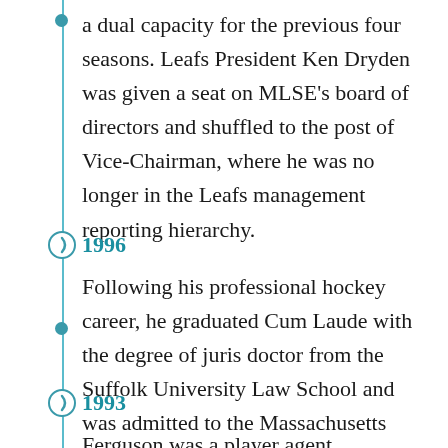a dual capacity for the previous four seasons. Leafs President Ken Dryden was given a seat on MLSE's board of directors and shuffled to the post of Vice-Chairman, where he was no longer in the Leafs management reporting hierarchy.
1996
Following his professional hockey career, he graduated Cum Laude with the degree of juris doctor from the Suffolk University Law School and was admitted to the Massachusetts State Bar in 1996.
1993
Ferguson was a player agent responsible for negotiating player contracts, product...